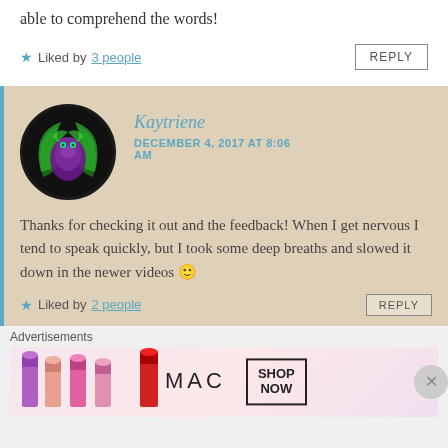able to comprehend the words!
★ Liked by 3 people
REPLY
Kaytriene
DECEMBER 4, 2017 AT 8:06 AM
Thanks for checking it out and the feedback! When I get nervous I tend to speak quickly, but I took some deep breaths and slowed it down in the newer videos 🙂
★ Liked by 2 people
REPLY
Advertisements
[Figure (photo): MAC cosmetics advertisement banner showing lipsticks, MAC logo, and SHOP NOW button]